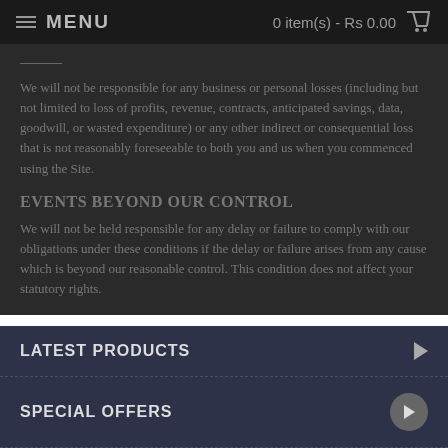MENU   0 item(s) - Rs 0.00
We will not be responsible for any business or personal losses (including but not limited to loss of profits, revenue, contracts, anticipated savings, data, goodwill, or wasted expenditure) or any other indirect or consequential loss that is not reasonably foreseeable to both you and us when you commenced using the Site.
EVENTS BEYOND OUR CONTROL
We will not be held responsible for any delay or failure to comply with our obligations under these conditions if the delay or failure arises from any cause which is beyond our reasonable control. This condition does not affect your statutory rights.
LATEST PRODUCTS
SPECIAL OFFERS